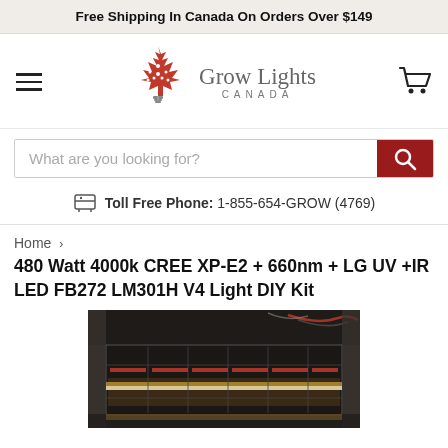Free Shipping In Canada On Orders Over $149
[Figure (logo): Grow Lights Canada logo with red maple leaf and lightbulb, hamburger menu icon on the left, shopping cart icon on the right]
What are you looking for? [search button]
Toll Free Phone: 1-855-654-GROW (4769)
Home > 480 Watt 4000k CREE XP-E2 + 660nm + LG UV +IR LED FB272 LM301H V4 Light DIY Kit
480 Watt 4000k CREE XP-E2 + 660nm + LG UV +IR LED FB272 LM301H V4 Light DIY Kit
[Figure (photo): Photo of an LED grow light panel mounted in a grow tent, showing warm white LEDs and red accent strips with wiring visible]